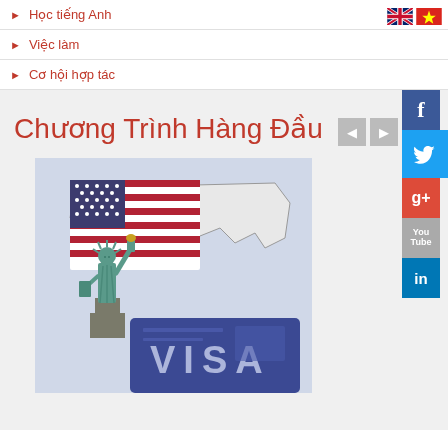Học tiếng Anh
Việc làm
Cơ hội hợp tác
Chương Trình Hàng Đầu
[Figure (photo): Statue of Liberty with US flag and map in background, with a VISA document in the foreground]
[Figure (infographic): Social media icons strip on right: Facebook (f), Twitter (bird), Google+ (g+), YouTube, LinkedIn (in)]